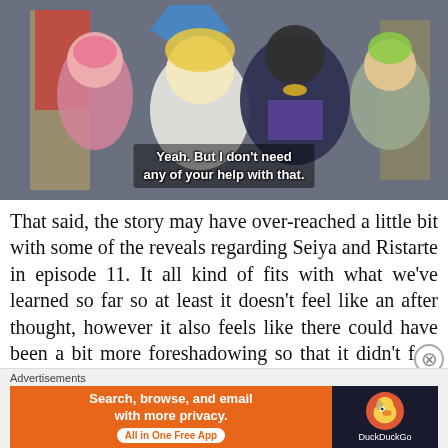[Figure (screenshot): Anime screenshot showing several characters including a blonde female character, a dark armored character, a pink-haired character, and a green-haired character. Subtitle text reads: 'Yeah. But I don't need any of your help with that.']
That said, the story may have over-reached a little bit with some of the reveals regarding Seiya and Ristarte in episode 11. It all kind of fits with what we've learned so far so at least it doesn't feel like an after thought, however it also feels like there could have been a bit more foreshadowing so that it didn't feel quite so jarring.
Advertisements
[Figure (screenshot): DuckDuckGo advertisement banner. Left orange section: 'Search, browse, and email with more privacy. All in One Free App'. Right dark section shows DuckDuckGo duck logo and brand name.]